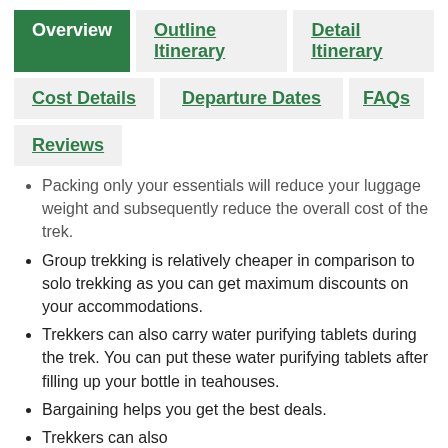Overview
Outline Itinerary
Detail Itinerary
Cost Details
Departure Dates
FAQs
Reviews
Packing only your essentials will reduce your luggage weight and subsequently reduce the overall cost of the trek.
Group trekking is relatively cheaper in comparison to solo trekking as you can get maximum discounts on your accommodations.
Trekkers can also carry water purifying tablets during the trek. You can put these water purifying tablets after filling up your bottle in teahouses.
Bargaining helps you get the best deals.
Trekkers can also…